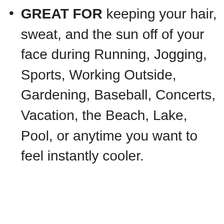GREAT FOR keeping your hair, sweat, and the sun off of your face during Running, Jogging, Sports, Working Outside, Gardening, Baseball, Concerts, Vacation, the Beach, Lake, Pool, or anytime you want to feel instantly cooler.
$19.85 Prime
Buy on Amazon
[Figure (photo): Black t-shirt with a graphic design visible at the bottom of the image]